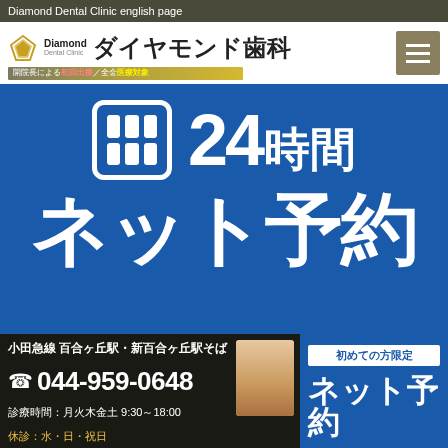Diamond Dental Clinic english page
[Figure (logo): Diamond Dental Clinic logo with Japanese text ダイヤモンド歯科 and tagline bar]
[Figure (infographic): Blue banner with calendar icon, 24時間, ネット予約 (24-hour online booking)]
初めての方限定
小田急線 百合ヶ丘駅・新百合ヶ丘駅そば
☎ 044-959-0648
診療時間：月火木金土 9:30～18:00
休診：水・日・祝日
初めての方限定
ネット予約